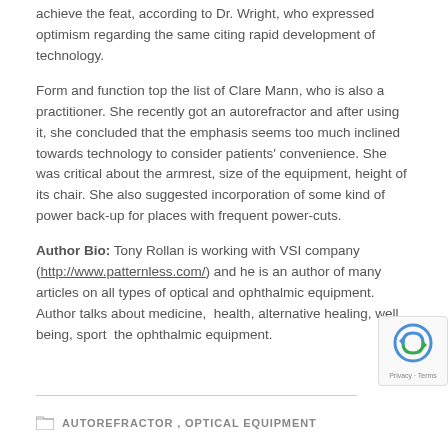achieve the feat, according to Dr. Wright, who expressed optimism regarding the same citing rapid development of technology.
Form and function top the list of Clare Mann, who is also a practitioner. She recently got an autorefractor and after using it, she concluded that the emphasis seems too much inclined towards technology to consider patients' convenience. She was critical about the armrest, size of the equipment, height of its chair. She also suggested incorporation of some kind of power back-up for places with frequent power-cuts.
Author Bio: Tony Rollan is working with VSI company (http://www.patternless.com/) and he is an author of many articles on all types of optical and ophthalmic equipment. Author talks about medicine, health, alternative healing, well being, sport the ophthalmic equipment.
AUTOREFRACTOR, OPTICAL EQUIPMENT